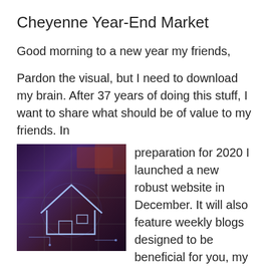Cheyenne Year-End Market
Good morning to a new year my friends,
Pardon the visual, but I need to download my brain. After 37 years of doing this stuff, I want to share what should be of value to my friends.  In preparation for 2020 I launched a new robust website in December.   It will also feature weekly blogs designed to be beneficial for you, my friend and client.
[Figure (photo): Aerial/tech illustration of a house outline glowing in neon white lines over a circuit board or aerial map background, with puzzle piece elements]
They will include, of course, real estate subjects as well as local events and issues related to real estate.  These blogs will not be canned, packaged